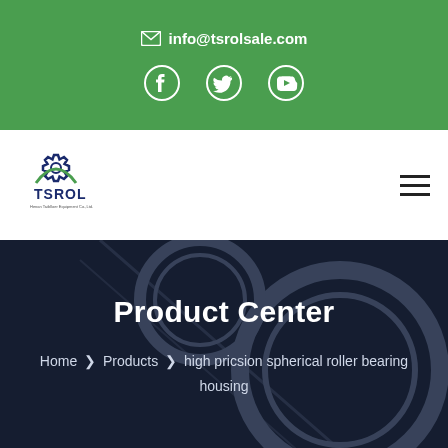info@tsrolsale.com
[Figure (logo): TSROL company logo with gear icon]
Product Center
Home > Products > high pricsion spherical roller bearing housing